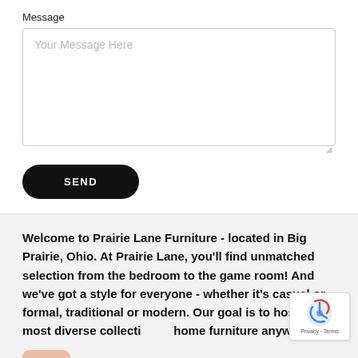Message
[Figure (screenshot): Text area input field with placeholder text 'Your Message Here']
[Figure (screenshot): Black rounded SEND button]
Welcome to Prairie Lane Furniture - located in Big Prairie, Ohio. At Prairie Lane, you'll find unmatched selection from the bedroom to the game room! And we've got a style for everyone - whether it's casual or formal, traditional or modern. Our goal is to host the most diverse collection of home furniture anywhere.
[Figure (logo): reCAPTCHA badge with Privacy and Terms links]
[Figure (other): Partial image strip at bottom]